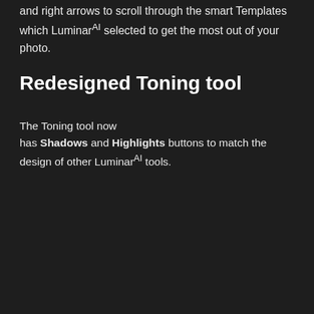and right arrows to scroll through the smart Templates which LuminarAI selected to get the most out of your photo.
Redesigned Toning tool
The Toning tool now has Shadows and Highlights buttons to match the design of other LuminarAI tools.
[Figure (screenshot): UI screenshot showing a Tools panel with Toning row active (with undo, home, and toggle icons, plus a pencil icon), followed by Matte (pink square icon, clock icon), Mystical (pink figure icon), and Glow (pink sparkle icon) items.]